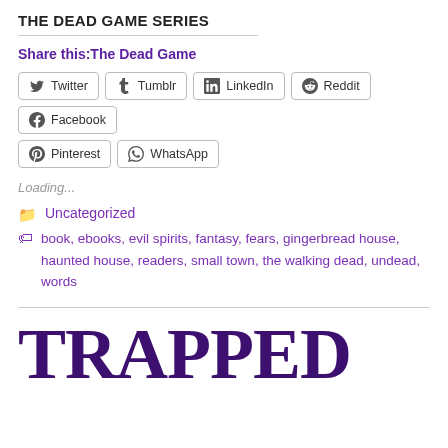THE DEAD GAME SERIES
Share this:The Dead Game
[Figure (other): Social sharing buttons: Twitter, Tumblr, LinkedIn, Reddit, Facebook, Pinterest, WhatsApp]
Loading...
Uncategorized
book, ebooks, evil spirits, fantasy, fears, gingerbread house, haunted house, readers, small town, the walking dead, undead, words
TRAPPED